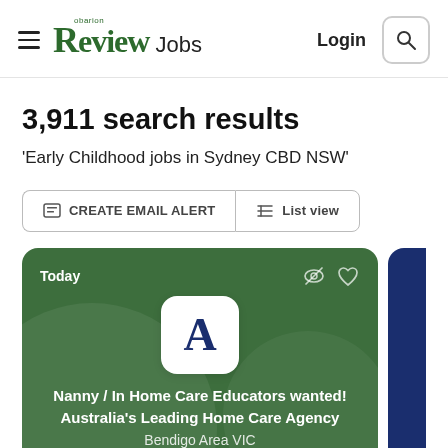Review Jobs — Login
3,911 search results
'Early Childhood jobs in Sydney CBD NSW'
CREATE EMAIL ALERT   List view
[Figure (screenshot): Job listing card for 'Nanny / In Home Care Educators wanted! Australia's Leading Home Care Agency', Bendigo Area VIC, on a green background with company logo 'A']